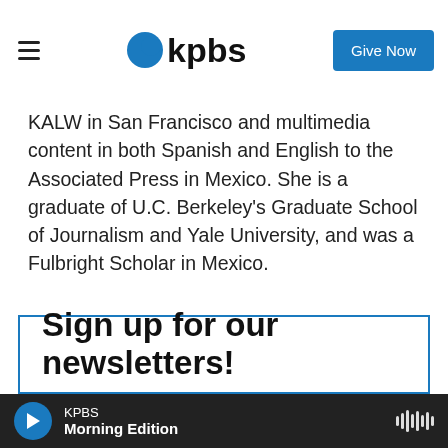KPBS | Give Now
KALW in San Francisco and multimedia content in both Spanish and English to the Associated Press in Mexico. She is a graduate of U.C. Berkeley's Graduate School of Journalism and Yale University, and was a Fulbright Scholar in Mexico.
See stories by Jude Joffe-Block
Sign up for our newsletters!
KPBS Morning Edition